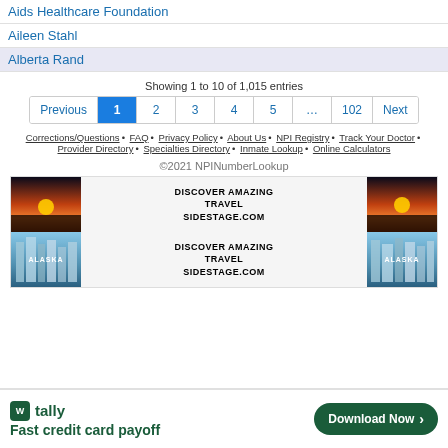Aids Healthcare Foundation
Aileen Stahl
Alberta Rand
Showing 1 to 10 of 1,015 entries
Previous 1 2 3 4 5 … 102 Next
Corrections/Questions • FAQ • Privacy Policy • About Us • NPI Registry • Track Your Doctor • Provider Directory • Specialties Directory • Inmate Lookup • Online Calculators
©2021 NPINumberLookup
[Figure (infographic): Travel advertisement showing two rows of sunset and glacier images with text DISCOVER AMAZING TRAVEL SIDESTAGE.COM and ALASKA]
[Figure (infographic): Tally app advertisement: Fast credit card payoff with Download Now button]